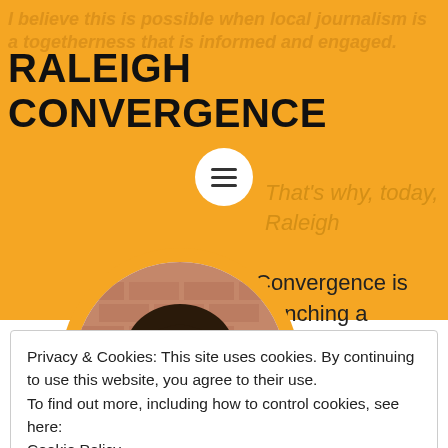RALEIGH CONVERGENCE
I believe this is possible when local journalism is a to... (faded background text)
That's why, today, Raleigh Convergence is launching a membership program.
[Figure (photo): Circular profile photo of a smiling woman with dark hair, wearing a dark blazer and colorful necklace, against a brick wall background. Framed in an orange circle with white border.]
Privacy & Cookies: This site uses cookies. By continuing to use this website, you agree to their use.
To find out more, including how to control cookies, see here:
Cookie Policy
CLOSE AND ACCEPT